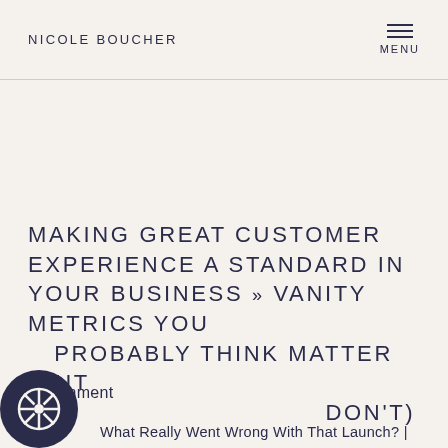NICOLE BOUCHER
MAKING GREAT CUSTOMER EXPERIENCE A STANDARD IN YOUR BUSINESS
« VANITY METRICS YOU PROBABLY THINK MATTER (BUT DON'T)
1 Comment
What Really Went Wrong With That Launch? |